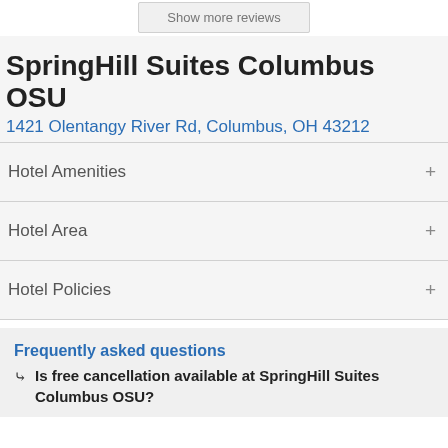Show more reviews
SpringHill Suites Columbus OSU
1421 Olentangy River Rd, Columbus, OH 43212
Hotel Amenities
Hotel Area
Hotel Policies
Frequently asked questions
Is free cancellation available at SpringHill Suites Columbus OSU?